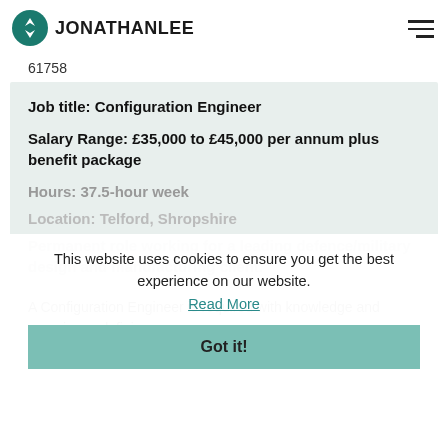[Figure (logo): Jonathan Lee Recruitment logo with teal circular icon and text JONATHAN LEE]
61758
Job title: Configuration Engineer
Salary Range: £35,000 to £45,000 per annum plus benefit package
Hours: 37.5-hour week
Location: Telford, Shropshire
Permanent role working for a leading defence/military design and manufacturing client.
This website uses cookies to ensure you get the best experience on our website. Read More
Got it!
A Configuration Engineer is required with knowledge and experience defining,